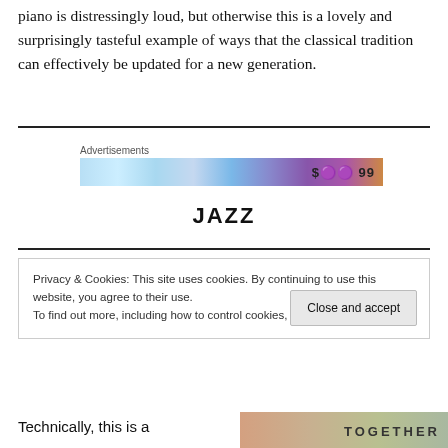piano is distressingly loud, but otherwise this is a lovely and surprisingly tasteful example of ways that the classical tradition can effectively be updated for a new generation.
[Figure (other): Advertisements banner with colorful background and partial text showing dollar sign and emoji-like icons]
JAZZ
Privacy & Cookies: This site uses cookies. By continuing to use this website, you agree to their use.
To find out more, including how to control cookies, see here: Cookie Policy
Technically, this is a
[Figure (other): Partial book cover showing the word TOGETHER in bold letters on a textured background]